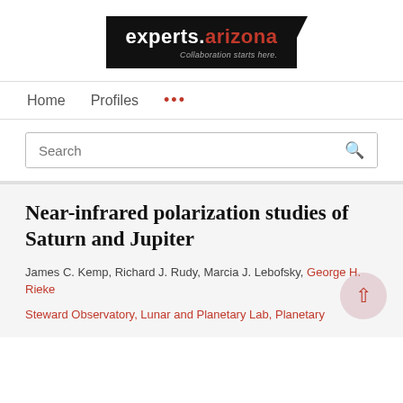[Figure (logo): experts.arizona logo with tagline 'Collaboration starts here.' on black background]
Home   Profiles   ...
Search
Near-infrared polarization studies of Saturn and Jupiter
James C. Kemp, Richard J. Rudy, Marcia J. Lebofsky, George H. Rieke
Steward Observatory, Lunar and Planetary Lab, Planetary